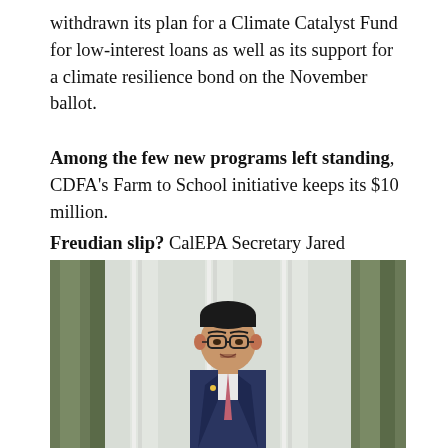withdrawn its plan for a Climate Catalyst Fund for low-interest loans as well as its support for a climate resilience bond on the November ballot.
Among the few new programs left standing, CDFA's Farm to School initiative keeps its $10 million.
Freudian slip? CalEPA Secretary Jared Blumenfeld, who is known to be critical of conventional pesticides, mistakenly referred to DPR on a press call as the Department of Pesticide Reduction.
[Figure (photo): Photo of a man in a suit speaking at a podium, with classical columns and green curtains in the background. The man has short dark hair, glasses, and is wearing a dark blue suit with a red/pink tie.]